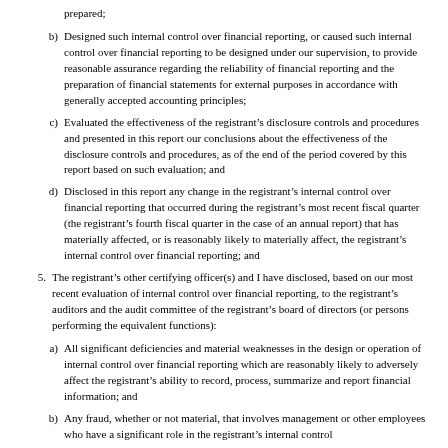prepared;
b) Designed such internal control over financial reporting, or caused such internal control over financial reporting to be designed under our supervision, to provide reasonable assurance regarding the reliability of financial reporting and the preparation of financial statements for external purposes in accordance with generally accepted accounting principles;
c) Evaluated the effectiveness of the registrant’s disclosure controls and procedures and presented in this report our conclusions about the effectiveness of the disclosure controls and procedures, as of the end of the period covered by this report based on such evaluation; and
d) Disclosed in this report any change in the registrant’s internal control over financial reporting that occurred during the registrant’s most recent fiscal quarter (the registrant’s fourth fiscal quarter in the case of an annual report) that has materially affected, or is reasonably likely to materially affect, the registrant’s internal control over financial reporting; and
5. The registrant’s other certifying officer(s) and I have disclosed, based on our most recent evaluation of internal control over financial reporting, to the registrant’s auditors and the audit committee of the registrant’s board of directors (or persons performing the equivalent functions):
a) All significant deficiencies and material weaknesses in the design or operation of internal control over financial reporting which are reasonably likely to adversely affect the registrant’s ability to record, process, summarize and report financial information; and
b) Any fraud, whether or not material, that involves management or other employees who have a significant role in the registrant’s internal control